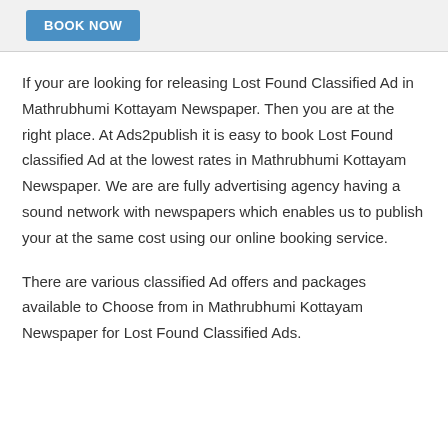BOOK NOW
If your are looking for releasing Lost Found Classified Ad in Mathrubhumi Kottayam Newspaper. Then you are at the right place. At Ads2publish it is easy to book Lost Found classified Ad at the lowest rates in Mathrubhumi Kottayam Newspaper. We are are fully advertising agency having a sound network with newspapers which enables us to publish your at the same cost using our online booking service.
There are various classified Ad offers and packages available to Choose from in Mathrubhumi Kottayam Newspaper for Lost Found Classified Ads.